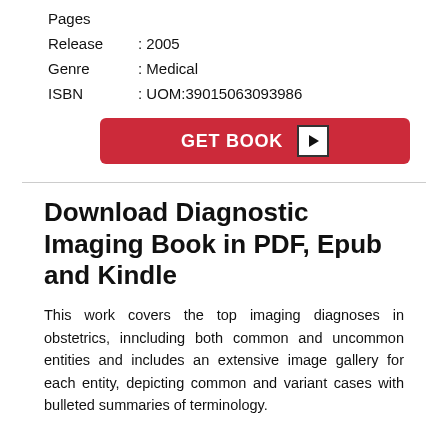Pages
Release : 2005
Genre : Medical
ISBN : UOM:39015063093986
[Figure (other): Red GET BOOK button with play icon]
Download Diagnostic Imaging Book in PDF, Epub and Kindle
This work covers the top imaging diagnoses in obstetrics, inncluding both common and uncommon entities and includes an extensive image gallery for each entity, depicting common and variant cases with bulleted summaries of terminology.